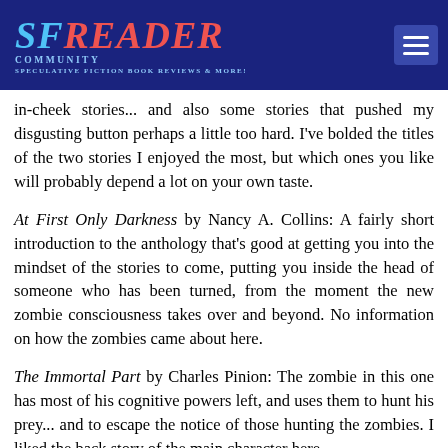SF Reader Community – Speculative Fiction Book Reviews & More!
in-cheek stories... and also some stories that pushed my disgusting button perhaps a little too hard. I've bolded the titles of the two stories I enjoyed the most, but which ones you like will probably depend a lot on your own taste.
At First Only Darkness by Nancy A. Collins: A fairly short introduction to the anthology that's good at getting you into the mindset of the stories to come, putting you inside the head of someone who has been turned, from the moment the new zombie consciousness takes over and beyond. No information on how the zombies came about here.
The Immortal Part by Charles Pinion: The zombie in this one has most of his cognitive powers left, and uses them to hunt his prey... and to escape the notice of those hunting the zombies. I liked the back story of the main character here,